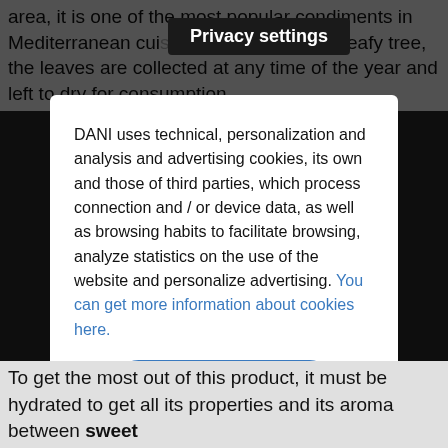area, it is one of the most popular condiments in Mediterranean cui... obtained from a leafy tree, the leaves are collected at any time of the year and left to dry for consumption.
Privacy settings
DANI uses technical, personalization and analysis and advertising cookies, its own and those of third parties, which process connection and / or device data, as well as browsing habits to facilitate browsing, analyze statistics on the use of the website and personalize advertising. You can get more information about cookies here.
Accept cookies
Deny cookies
To get the most out of this product, it must be hydrated to get all its properties and its aroma between sweet